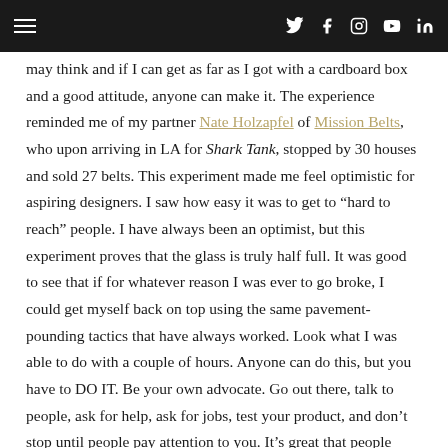[hamburger menu] [Twitter] [Facebook] [Instagram] [YouTube] [LinkedIn]
may think and if I can get as far as I got with a cardboard box and a good attitude, anyone can make it. The experience reminded me of my partner Nate Holzapfel of Mission Belts, who upon arriving in LA for Shark Tank, stopped by 30 houses and sold 27 belts. This experiment made me feel optimistic for aspiring designers. I saw how easy it was to get to “hard to reach” people. I have always been an optimist, but this experiment proves that the glass is truly half full. It was good to see that if for whatever reason I was ever to go broke, I could get myself back on top using the same pavement-pounding tactics that have always worked. Look what I was able to do with a couple of hours. Anyone can do this, but you have to DO IT. Be your own advocate. Go out there, talk to people, ask for help, ask for jobs, test your product, and don’t stop until people pay attention to you. It’s great that people promote themselves